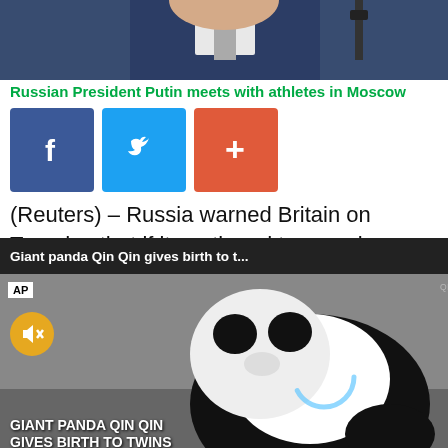[Figure (photo): Top portion of a person in a dark suit, partial head visible, podium microphone in background — news article header photo]
Russian President Putin meets with athletes in Moscow
[Figure (screenshot): Social share buttons: Facebook (blue), Twitter (light blue), and Plus/Add (orange-red)]
(Reuters) – Russia warned Britain on Tuesday that if it continued to provoke Ukraine to strike targets in mediate
[Figure (screenshot): Video popup overlay: 'Giant panda Qin Qin gives birth to t...' with X close button. AP logo, mute button, panda video still, text 'GIANT PANDA QIN QIN GIVES BIRTH TO TWINS', loading spinner]
atements from mes Heappey who legitimate for Ukraine to hunt targets in the depths of Russia
[Figure (screenshot): Globe/world icon bottom right corner]
Sections  NY Edition  Philly  Games  Advertise  Sign Up